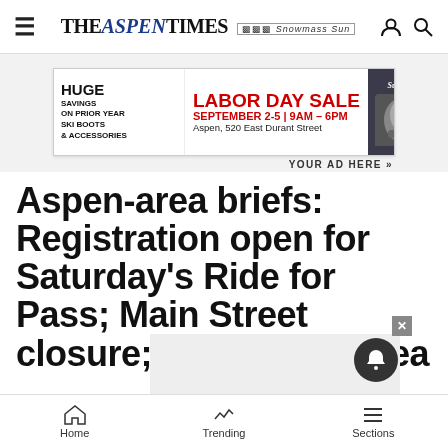THE ASPEN TIMES | Snowmass Sun
[Figure (infographic): Surefoot Labor Day Sale advertisement banner. Text: HUGE SAVINGS ON PRIOR YEAR SKI BOOTS & ACCESSORIES | LABOR DAY SALE SEPTEMBER 2-5 | 9AM - 6PM | Aspen, 520 East Durant Street. YOUR AD HERE »]
Aspen-area briefs: Registration open for Saturday's Ride for Pass; Main Street closure; Community Health Day on Saturday
Home  Trending  Sections